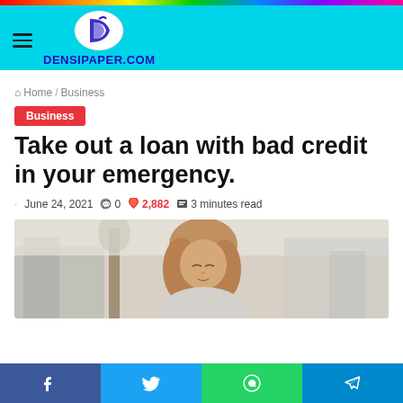DENSIPAPER.COM
Home / Business
Business
Take out a loan with bad credit in your emergency.
June 24, 2021  0  2,882  3 minutes read
[Figure (photo): Woman with long blonde hair looking down, outdoors with blurred background of trees and buildings]
Facebook  Twitter  WhatsApp  Telegram